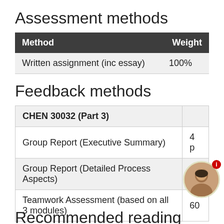Assessment methods
| Method | Weight |
| --- | --- |
| Written assignment (inc essay) | 100% |
Feedback methods
| CHEN 30032 (Part 3) |  |
| --- | --- |
| Group Report (Executive Summary) | 4 p |
| Group Report (Detailed Process Aspects) |  |
| Teamwork Assessment (based on all 3 modules) | 60 |
Recommended reading